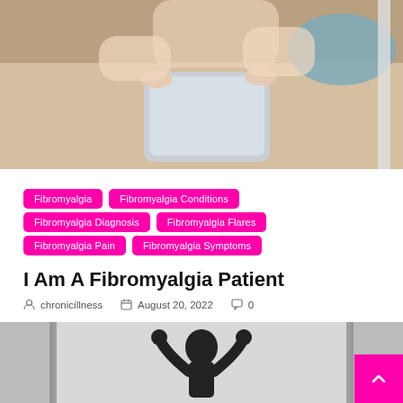[Figure (photo): Woman sitting on a beige couch holding a laptop/tablet, seen from above. Couch is tan/cream colored. A pillow is visible.]
Fibromyalgia
Fibromyalgia Conditions
Fibromyalgia Diagnosis
Fibromyalgia Flares
Fibromyalgia Pain
Fibromyalgia Symptoms
I Am A Fibromyalgia Patient
chronicillness   August 20, 2022   0
[Figure (photo): Black and white photo of a person's silhouette with raised fists, standing in front of a window or bright background.]